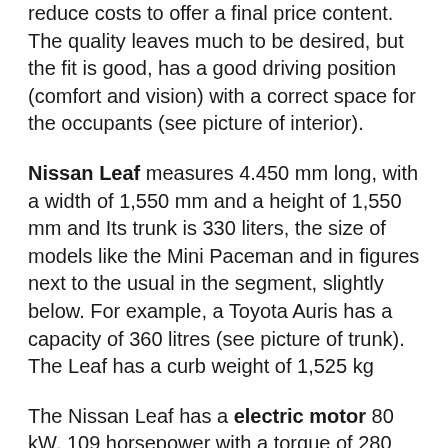reduce costs to offer a final price content. The quality leaves much to be desired, but the fit is good, has a good driving position (comfort and vision) with a correct space for the occupants (see picture of interior).
Nissan Leaf measures 4.450 mm long, with a width of 1,550 mm and a height of 1,550 mm and Its trunk is 330 liters, the size of models like the Mini Paceman and in figures next to the usual in the segment, slightly below. For example, a Toyota Auris has a capacity of 360 litres (see picture of trunk). The Leaf has a curb weight of 1,525 kg
The Nissan Leaf has a electric motor 80 kW, 109 horsepower with a torque of 280 Nm. The Nissan Leaf has lithium-ion